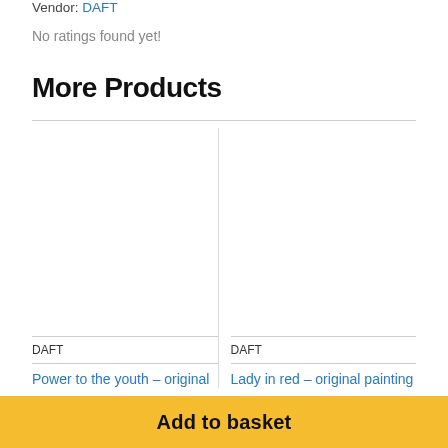Vendor: DAFT
No ratings found yet!
More Products
DAFT
Power to the youth – original
DAFT
Lady in red – original painting
Add to basket